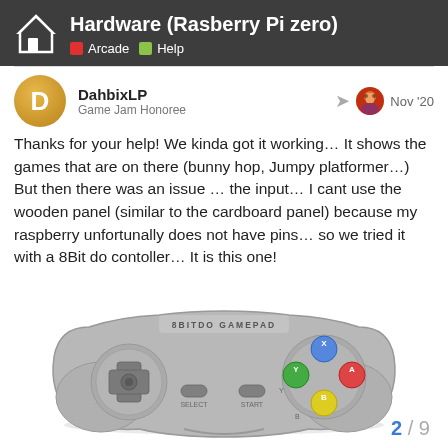Hardware (Rasberry Pi zero) — Arcade, Help
DahbixLP
Game Jam Honoree
Nov '20
Thanks for your help! We kinda got it working… It shows the games that are on there (bunny hop, Jumpy platformer…) But then there was an issue … the input… I cant use the wooden panel (similar to the cardboard panel) because my raspberry unfortunally does not have pins… so we tried it with a 8Bit do contoller… It is this one!
[Figure (photo): 8BitDo SNES-style wireless gamepad in gray with d-pad on left, SELECT and START buttons in center, and four colored face buttons (blue, green, yellow, red) on right. Text '8BITDO GAMEPAD' printed on top.]
2 / 9